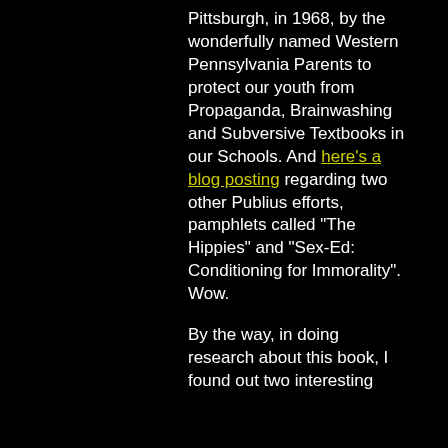Pittsburgh, in 1968, by the wonderfully named Western Pennsylvania Parents to protect our youth from Propaganda, Brainwashing and Subversive Textbooks in our Schools. And here's a blog posting regarding two other Publius efforts, pamphlets called "The Hippies" and "Sex-Ed: Conditioning for Immorality". Wow.
By the way, in doing research about this book, I found out two interesting...